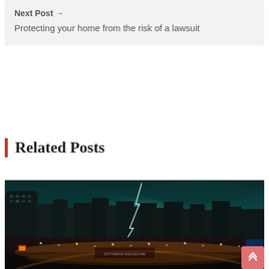Next Post → Protecting your home from the risk of a lawsuit
Related Posts
[Figure (photo): Night cityscape with lightning strike over downtown skyline, illuminated streets and highway interchange visible, city lights reflecting golden hues, dark teal stormy sky]